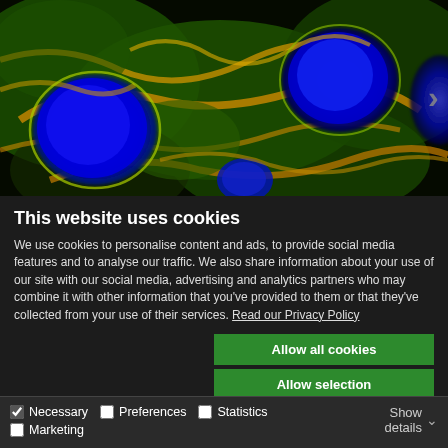[Figure (photo): Fluorescence microscopy image showing biological tissue with blue cell nuclei, green cellular structures, and yellow/orange highlights on a dark background]
This website uses cookies
We use cookies to personalise content and ads, to provide social media features and to analyse our traffic. We also share information about your use of our site with our social media, advertising and analytics partners who may combine it with other information that you've provided to them or that they've collected from your use of their services. Read our Privacy Policy
Allow all cookies
Allow selection
Use necessary cookies only
Necessary   Preferences   Statistics   Marketing   Show details